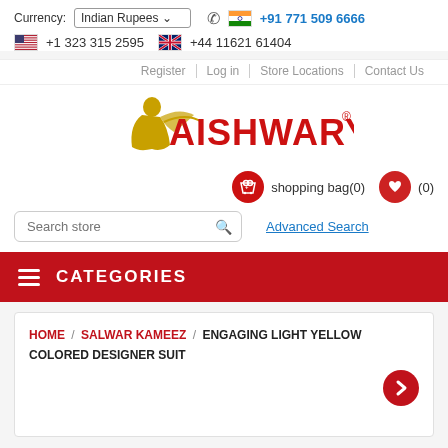Currency: Indian Rupees | +91 771 509 6666 | +1 323 315 2595 | +44 11621 61404
Register | Log in | Store Locations | Contact Us
[Figure (logo): Aishwarya brand logo with woman silhouette and red bold text AISHWARYA with registered trademark symbol]
shopping bag(0)  (0)
Search store  Advanced Search
CATEGORIES
HOME / SALWAR KAMEEZ / ENGAGING LIGHT YELLOW COLORED DESIGNER SUIT